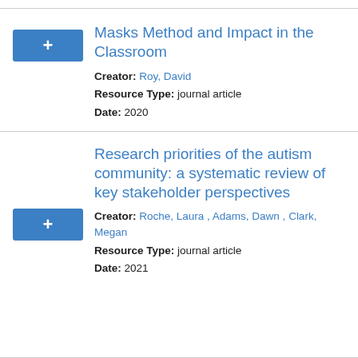Masks Method and Impact in the Classroom
Creator: Roy, David
Resource Type: journal article
Date: 2020
Research priorities of the autism community: a systematic review of key stakeholder perspectives
Creator: Roche, Laura , Adams, Dawn , Clark, Megan
Resource Type: journal article
Date: 2021